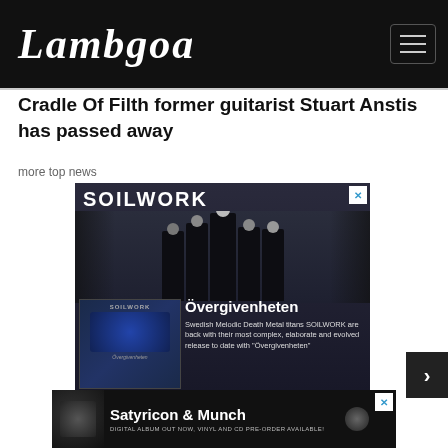Lambgoat
Cradle Of Filth former guitarist Stuart Anstis has passed away
more top news
[Figure (photo): Soilwork band advertisement for album Övergivenheten. Shows band members posing in dark outdoor setting with album cover and description: Swedish Melodic Death Metal titans SOILWORK are back with their most complex, elaborate and evolved release to date with Övergivenheten]
[Figure (photo): Satyricon & Munch advertisement. Shows album artwork with text: DIGITAL ALBUM OUT NOW, VINYL AND CD PRE-ORDER AVAILABLE!]